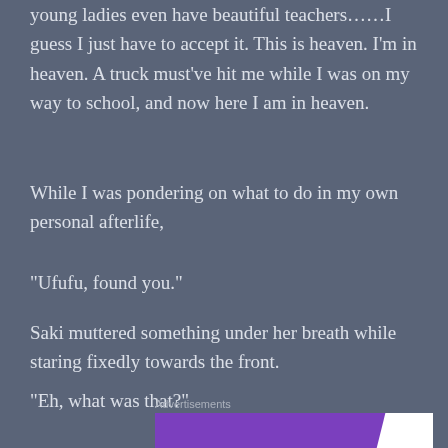young ladies even have beautiful teachers……I guess I just have to accept it. This is heaven. I'm in heaven. A truck must've hit me while I was on my way to school, and now here I am in heaven.
While I was pondering on what to do in my own personal afterlife,
“Ufufu, found you.”
Saki muttered something under her breath while staring fixedly towards the front.
“Eh, what was that?”
Advertisements
[Figure (logo): WooCommerce advertisement banner with purple background and white WooCommerce logo]